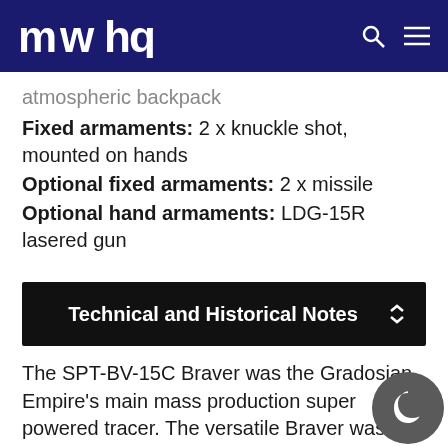MWHQ [logo] [search icon] [menu icon]
atmospheric backpack
Fixed armaments: 2 x knuckle shot, mounted on hands
Optional fixed armaments: 2 x missile
Optional hand armaments: LDG-15R lasered gun
Technical and Historical Notes
The SPT-BV-15C Braver was the Gradosian Empire's main mass production super powered tracer. The versatile Braver was capable of operating in both a planetary atmosphere as well as in space. Its armaments included the standard knuckle shot for melee combat and a lasered gun, but it could also carry two optional missiles. Bravers made hostile